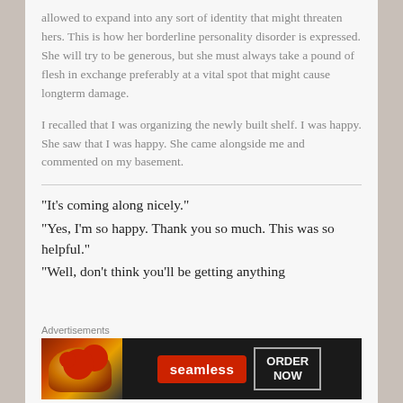allowed to expand into any sort of identity that might threaten hers.  This is how her borderline personality disorder is expressed.  She will try to be generous, but she must always take a pound of flesh in exchange preferably at a vital spot that might cause longterm damage.

I recalled that I was organizing the newly built shelf.  I was happy.  She saw that I was happy.  She came alongside me and commented on my basement.
“It’s coming along nicely.”
“Yes, I’m so happy.  Thank you so much.  This was so helpful.”
“Well, don’t think you’ll be getting anything
[Figure (other): Seamless food delivery advertisement banner with pizza image on left, Seamless logo in red badge, and ORDER NOW button on dark background]